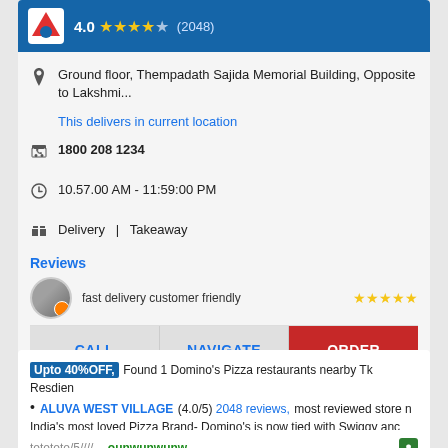[Figure (screenshot): Restaurant listing card showing Domino's Pizza with blue header, rating 4.0 with 4 stars and 2048 reviews]
Ground floor, Thempadath Sajida Memorial Building, Opposite to Lakshmi...
This delivers in current location
1800 208 1234
10.57.00 AM - 11:59:00 PM
Delivery | Takeaway
Reviews
fast delivery customer friendly
CALL   NAVIGATE   ORDER
Upto 40%OFF, Found 1 Domino's Pizza restaurants nearby Tk Resdien
ALUVA WEST VILLAGE (4.0/5) 2048 reviews, most reviewed store n
India's most loved Pizza Brand- Domino's is now tied with Swiggy anc